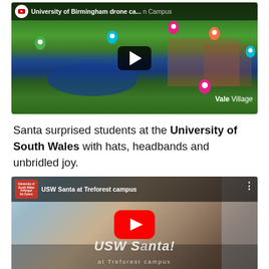[Figure (screenshot): YouTube video thumbnail for 'University of Birmingham drone ca...' showing aerial drone view of the university campus with a lake, red brick buildings, green trees, and coloured map pins. A play button is visible in the centre.]
Santa surprised students at the University of South Wales with hats, headbands and unbridled joy.
[Figure (screenshot): YouTube video thumbnail for 'USW Santa at Treforest campus' showing people indoors with Santa hats. A red YouTube play button is visible in the centre. The USW logo appears top left and 'USW Santa!' text overlaid on image.]